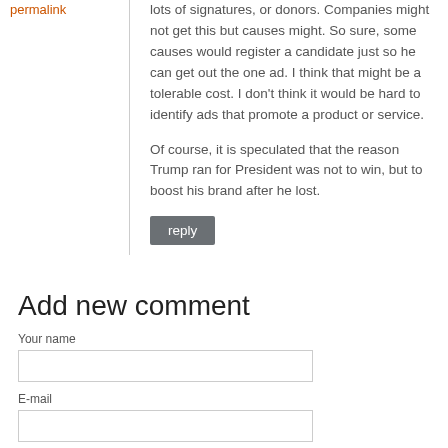permalink
lots of signatures, or donors. Companies might not get this but causes might. So sure, some causes would register a candidate just so he can get out the one ad. I think that might be a tolerable cost. I don't think it would be hard to identify ads that promote a product or service.
Of course, it is speculated that the reason Trump ran for President was not to win, but to boost his brand after he lost.
reply
Add new comment
Your name
E-mail
The content of this field is kept private and will not be shown publicly.
Homepage